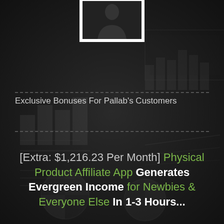[Figure (photo): Person photo in a white-bordered frame at the top center of the page]
[Figure (infographic): Faint background dashboard/charts graphics overlay]
Exclusive Bonuses For Pallab's Customers
[Extra: $1,216.23 Per Month] Physical Product Affiliate App Generates Evergreen Income for Newbies & Everyone Else In 1-3 Hours...